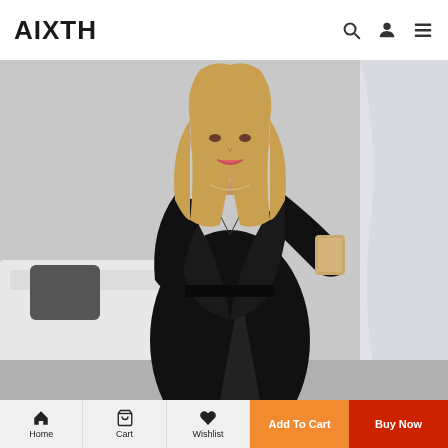AIXTH
[Figure (photo): Woman in a black velvet wrap dress with long sleeves and a side slit, taking a mirror selfie with a phone in a bedroom setting.]
Home | Cart | Wishlist | Add To Cart | Buy Now